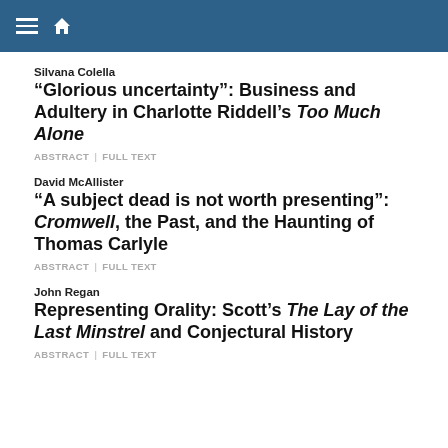Silvana Colella
“Glorious uncertainty”: Business and Adultery in Charlotte Riddell’s Too Much Alone
ABSTRACT | FULL TEXT
David McAllister
“A subject dead is not worth presenting”: Cromwell, the Past, and the Haunting of Thomas Carlyle
ABSTRACT | FULL TEXT
John Regan
Representing Orality: Scott’s The Lay of the Last Minstrel and Conjectural History
ABSTRACT | FULL TEXT